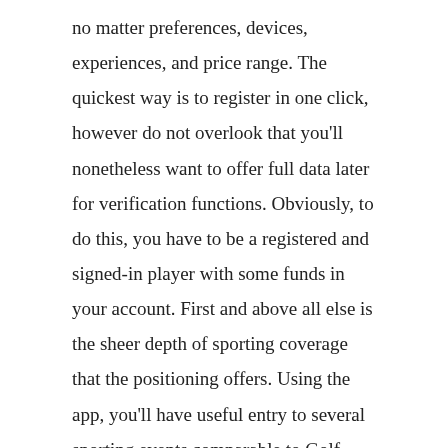no matter preferences, devices, experiences, and price range. The quickest way is to register in one click, however do not overlook that you'll nonetheless want to offer full data later for verification functions. Obviously, to do this, you have to be a registered and signed-in player with some funds in your account. First and above all else is the sheer depth of sporting coverage that the positioning offers. Using the app, you'll have useful entry to several sporting events comparable to Golf, Boxing, Baseball, Football and a amount of different others. You can be joyful to be taught that it lets you place single along with accrued bets as per your consolation. The aggressive and additional essential odds for important tournaments and matches may also be acknowledged